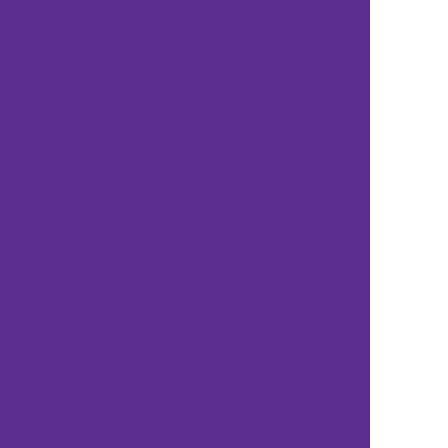Dr. Chen has presided over multiple international conferences in Shanghai and Pudong New Area, and has been the author of more than 50 papers, and...
Dr. Chen speaks Manda...
[Figure (photo): Portrait photo placeholder box with purple border]
Dr. Meidong Xu (China) – Director of Endoscopy, Gastroenterology Surgery...
Dr. Xu is one of the pioneers who introduced endoscopic technologies in treating gastric cancer. He obtained his PhD and MD degrees in medicine from Shanghai Jiao Tong and Chinese University of Hong Kong, and did his fellowship at the BIDMC (Beth Israel D...
Dr. Xu invented and carried out surgical treatment of early cancer, precancerous lesions of gastrointestinal tract, complete colorectal obstruction resolution, and pioneered the treatment of various gastrointestinal bleeding, elastic ligation of esophageal varices, removing foreign bodies of the digestive tract, and...
He published dozens of papers in important domestic science and technology journals, as a member of programs of the National Natural Science Foundation, Science and Technology Commission, and the Endoscopy Surgery Committee of th...
Dr. Xu organizes internationally and domestically academic conferences in the endoscopy field, and advocates new technology and new ideas by demonstrating operation...
Dr. Xu speaks Mandarin...